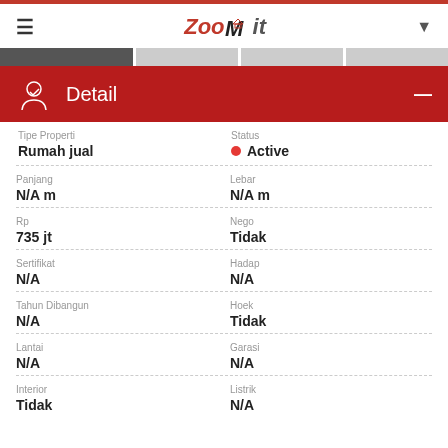ZooMit
Detail
| Field | Value |
| --- | --- |
| Tipe Properti | Rumah jual |
| Status | Active |
| Panjang | N/A m |
| Lebar | N/A m |
| Rp | 735 jt |
| Nego | Tidak |
| Sertifikat | N/A |
| Hadap | N/A |
| Tahun Dibangun | N/A |
| Hoek | Tidak |
| Lantai | N/A |
| Garasi | N/A |
| Interior | Tidak |
| Listrik | N/A |